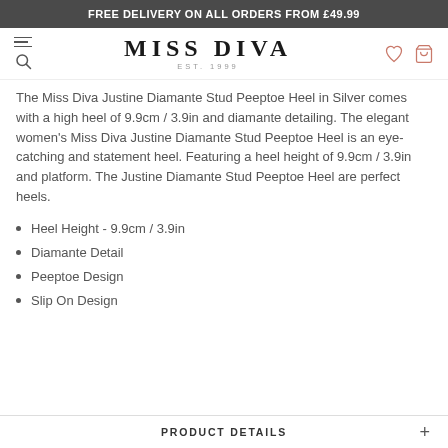FREE DELIVERY ON ALL ORDERS FROM £49.99
[Figure (logo): Miss Diva logo with EST. 1999, navigation icons including hamburger menu, search, heart, and bag]
The Miss Diva Justine Diamante Stud Peeptoe Heel in Silver comes with a high heel of 9.9cm / 3.9in and diamante detailing. The elegant women's Miss Diva Justine Diamante Stud Peeptoe Heel is an eye-catching and statement heel. Featuring a heel height of 9.9cm / 3.9in and platform. The Justine Diamante Stud Peeptoe Heel are perfect heels.
Heel Height - 9.9cm / 3.9in
Diamante Detail
Peeptoe Design
Slip On Design
PRODUCT DETAILS